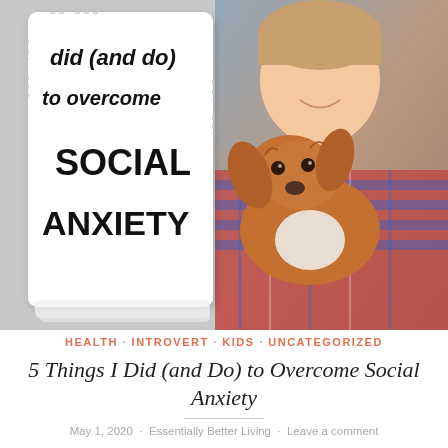[Figure (photo): Blog post header image: left side shows a white card with handwritten-style text reading 'did (and do) to overcome SOCIAL ANXIETY'; right side shows a smiling boy holding a fluffy brown and white dog, photographed against a gray background.]
HEALTH · INTROVERT · KIDS · UNCATEGORIZED
5 Things I Did (and Do) to Overcome Social Anxiety
May 1, 2020 · Essentially Better Living · Leave a comment